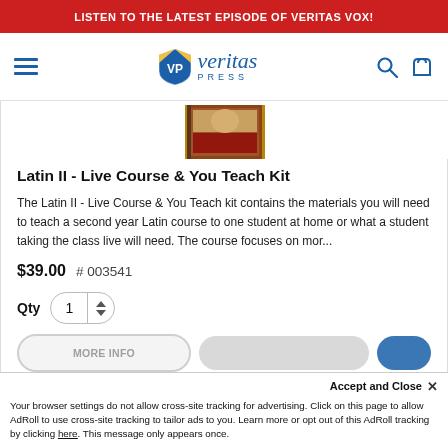LISTEN TO THE LATEST EPISODE OF VERITAS VOX!
[Figure (logo): Veritas Press logo with shield and italic text]
[Figure (photo): Partial product book cover image]
Latin II - Live Course & You Teach Kit
The Latin II - Live Course & You Teach kit contains the materials you will need to teach a second year Latin course to one student at home or what a student taking the class live will need. The course focuses on mor...
$39.00  # 003541
Qty  1
Your browser settings do not allow cross-site tracking for advertising. Click on this page to allow AdRoll to use cross-site tracking to tailor ads to you. Learn more or opt out of this AdRoll tracking by clicking here. This message only appears once.